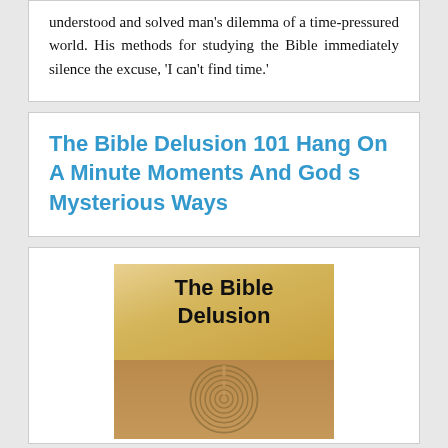understood and solved man's dilemma of a time-pressured world. His methods for studying the Bible immediately silence the excuse, 'I can't find time.'
The Bible Delusion 101 Hang On A Minute Moments And God s Mysterious Ways
[Figure (illustration): Book cover of 'The Bible Delusion' with tan/golden background and a labyrinth or fingerprint design at the bottom]